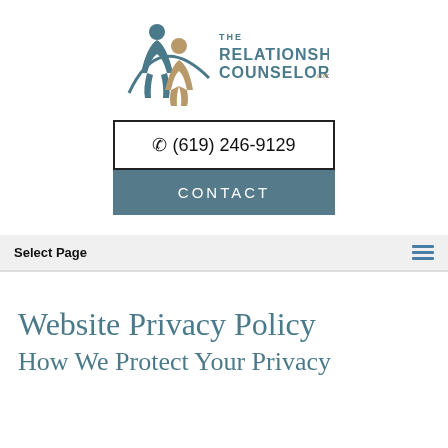[Figure (logo): The Relationship Counselors logo with two stylized human figures and text 'THE RELATIONSHIP COUNSELORS .com']
☎ (619) 246-9129
CONTACT
Select Page
Website Privacy Policy
How We Protect Your Privacy